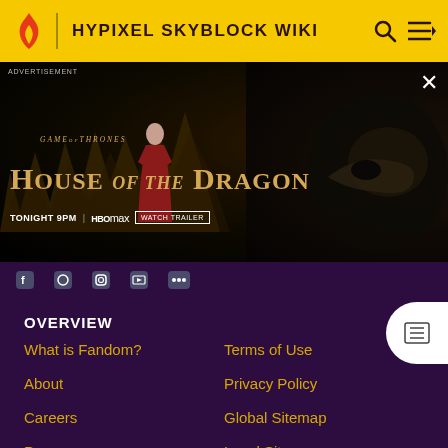HYPIXEL SKYBLOCK WIKI
[Figure (screenshot): HBO Original advertisement for House of the Dragon – 'Tonight 9PM HBO Max – Watch Trailer' with dragon imagery]
ADVERTISEMENT
OVERVIEW
What is Fandom?
Terms of Use
About
Privacy Policy
Careers
Global Sitemap
Press
Local Sitemap